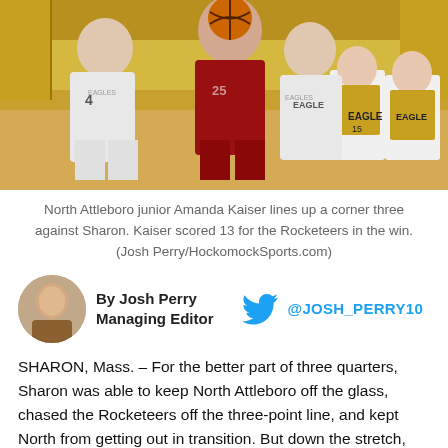[Figure (photo): Basketball game photo showing North Attleboro junior Amanda Kaiser lining up a corner three against Sharon. Players in white (Eagles) uniforms and red uniform visible.]
North Attleboro junior Amanda Kaiser lines up a corner three against Sharon. Kaiser scored 13 for the Rocketeers in the win. (Josh Perry/HockomockSports.com)
By Josh Perry Managing Editor @JOSH_PERRY10
SHARON, Mass. – For the better part of three quarters, Sharon was able to keep North Attleboro off the glass, chased the Rocketeers off the three-point line, and kept North from getting out in transition. But down the stretch, the visitors turned up the pressure and made just enough plays to pull out the win.